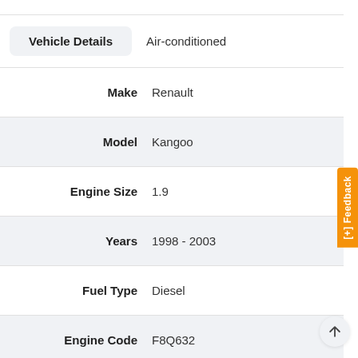| Field | Value |
| --- | --- |
| Vehicle Details | Air-conditioned |
| Make | Renault |
| Model | Kangoo |
| Engine Size | 1.9 |
| Years | 1998 - 2003 |
| Fuel Type | Diesel |
| Engine Code | F8Q632 |